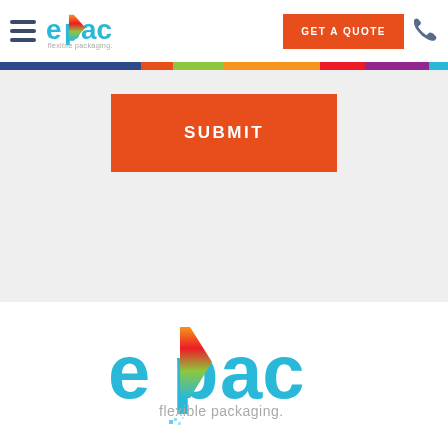[Figure (logo): ePac flexible packaging logo in navigation bar - teal/cyan colored text with colorful p accent]
GET A QUOTE
SUBMIT
[Figure (logo): ePac flexible packaging logo large centered in footer area - teal text with multicolor p accent and tagline 'flexible packaging.']